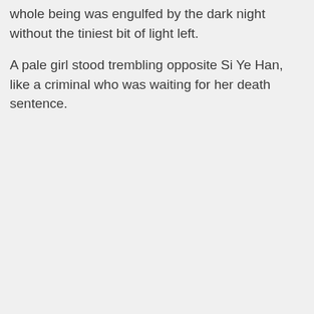whole being was engulfed by the dark night without the tiniest bit of light left.
A pale girl stood trembling opposite Si Ye Han, like a criminal who was waiting for her death sentence.